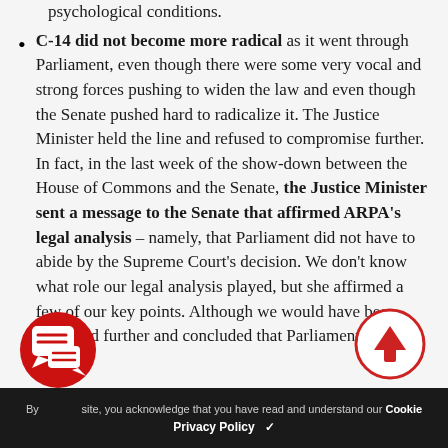psychological conditions.
C-14 did not become more radical as it went through Parliament, even though there were some very vocal and strong forces pushing to widen the law and even though the Senate pushed hard to radicalize it. The Justice Minister held the line and refused to compromise further. In fact, in the last week of the show-down between the House of Commons and the Senate, the Justice Minister sent a message to the Senate that affirmed ARPA’s legal analysis – namely, that Parliament did not have to abide by the Supreme Court’s decision. We don’t know what role our legal analysis played, but she affirmed a few of our key points. Although we would have been delighted further and concluded that Parliament should
By using this site, you acknowledge that you have read and understand our Cookie Privacy Policy ✓